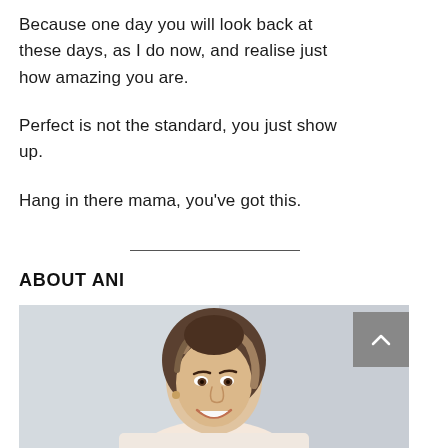Because one day you will look back at these days, as I do now, and realise just how amazing you are.
Perfect is not the standard, you just show up.
Hang in there mama, you've got this.
ABOUT ANI
[Figure (photo): Portrait photo of a smiling woman with wavy brown hair, white background, with a grey back-to-top button and teal chat button overlaid in the bottom right corner.]